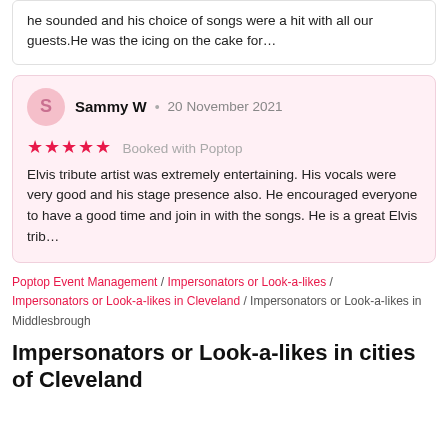he sounded and his choice of songs were a hit with all our guests.He was the icing on the cake for…
Sammy W • 20 November 2021
★★★★★ Booked with Poptop
Elvis tribute artist was extremely entertaining. His vocals were very good and his stage presence also. He encouraged everyone to have a good time and join in with the songs. He is a great Elvis trib…
Poptop Event Management / Impersonators or Look-a-likes / Impersonators or Look-a-likes in Cleveland / Impersonators or Look-a-likes in Middlesbrough
Impersonators or Look-a-likes in cities of Cleveland